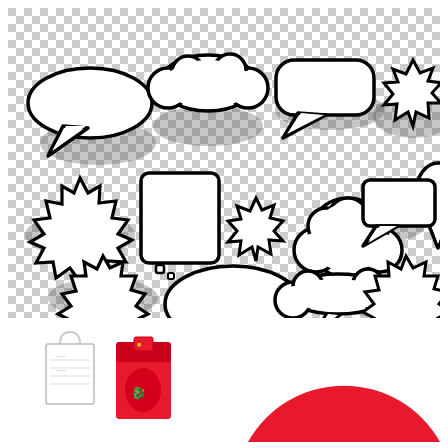[Figure (illustration): Collection of comic-style speech bubbles and thought bubbles in various shapes (cloud, spiky, oval, rectangular, exclamation) on a transparent checkerboard background, shown as black outline shapes with halftone dot shadows]
[Figure (illustration): Bottom row showing: a white shopping bag, a red envelope/packet with dragon design, and a large red semicircle shape]